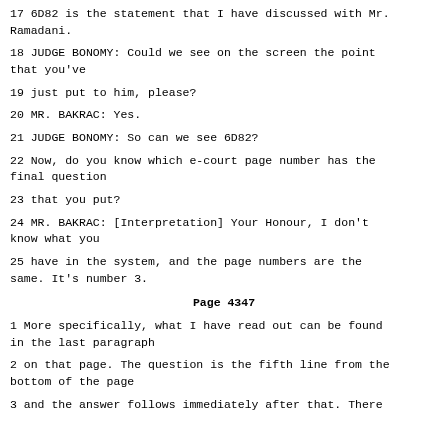17 6D82 is the statement that I have discussed with Mr. Ramadani.
18 JUDGE BONOMY: Could we see on the screen the point that you've
19 just put to him, please?
20 MR. BAKRAC: Yes.
21 JUDGE BONOMY: So can we see 6D82?
22 Now, do you know which e-court page number has the final question
23 that you put?
24 MR. BAKRAC: [Interpretation] Your Honour, I don't know what you
25 have in the system, and the page numbers are the same. It's number 3.
Page 4347
1 More specifically, what I have read out can be found in the last paragraph
2 on that page. The question is the fifth line from the bottom of the page
3 and the answer follows immediately after that. There